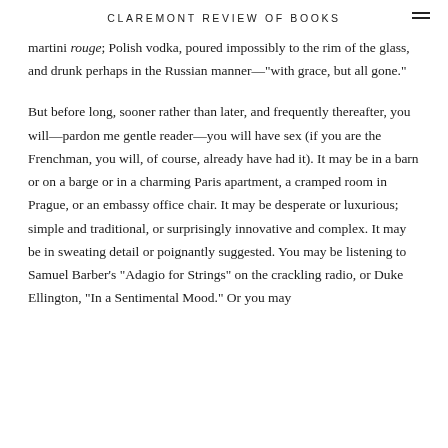CLAREMONT REVIEW OF BOOKS
martini rouge; Polish vodka, poured impossibly to the rim of the glass, and drunk perhaps in the Russian manner—“with grace, but all gone.”
But before long, sooner rather than later, and frequently thereafter, you will—pardon me gentle reader—you will have sex (if you are the Frenchman, you will, of course, already have had it). It may be in a barn or on a barge or in a charming Paris apartment, a cramped room in Prague, or an embassy office chair. It may be desperate or luxurious; simple and traditional, or surprisingly innovative and complex. It may be in sweating detail or poignantly suggested. You may be listening to Samuel Barber’s “Adagio for Strings” on the crackling radio, or Duke Ellington, “In a Sentimental Mood.” Or you may